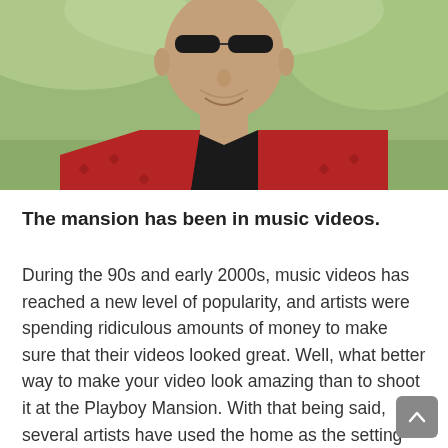[Figure (photo): Elderly man with dark sunglasses, smiling, wearing a red patterned jacket, photographed outdoors with green blurred background]
The mansion has been in music videos.
During the 90s and early 2000s, music videos has reached a new level of popularity, and artists were spending ridiculous amounts of money to make sure that their videos looked great. Well, what better way to make your video look amazing than to shoot it at the Playboy Mansion. With that being said, several artists have used the home as the setting for their